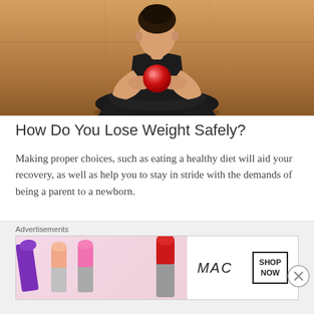[Figure (photo): Woman sitting cross-legged on a wooden floor holding a red ball, viewed from above/front, wearing black pants]
How Do You Lose Weight Safely?
Making proper choices, such as eating a healthy diet will aid your recovery, as well as help you to stay in stride with the demands of being a parent to a newborn.
This is a time when you should focus on limiting empty calories (calories derived from food containing no nutrients.) and filling up on nutrient-dense foods.
[Figure (photo): MAC Cosmetics advertisement banner showing colorful lipsticks and MAC logo with SHOP NOW button]